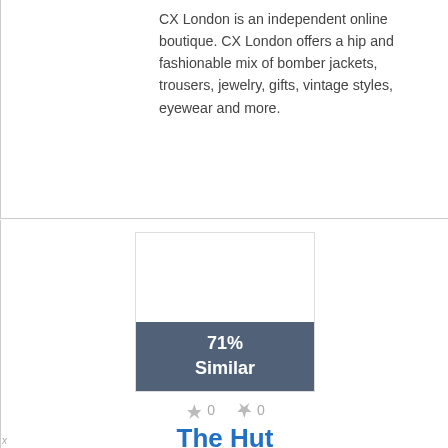CX London is an independent online boutique. CX London offers a hip and fashionable mix of bomber jackets, trousers, jewelry, gifts, vintage styles, eyewear and more.
Similar Stores
Shop On
[Figure (other): Store similarity card showing 71% Similar badge over a product image placeholder, with thumbs up 0 and thumbs down 0 vote icons]
The Hut
The Hut is a leading online